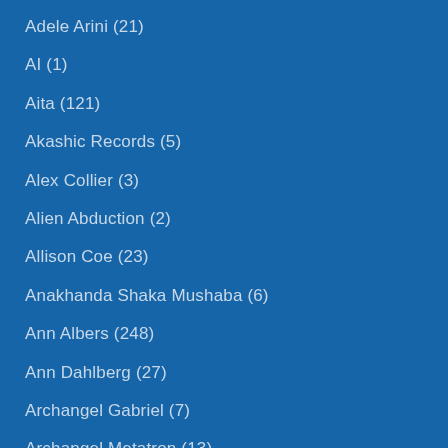Adele Arini (21)
AI (1)
Aita (121)
Akashic Records (5)
Alex Collier (3)
Alien Abduction (2)
Allison Coe (23)
Anakhanda Shaka Mushaba (6)
Ann Albers (248)
Ann Dahlberg (27)
Archangel Gabriel (7)
Archangel Metatron (13)
Archangel Michael (43)
Archangel Raphael (4)
Ascension (91)
Ashley Ulizzi (19)
Ashtar (77)
Asket of Temmer (1)